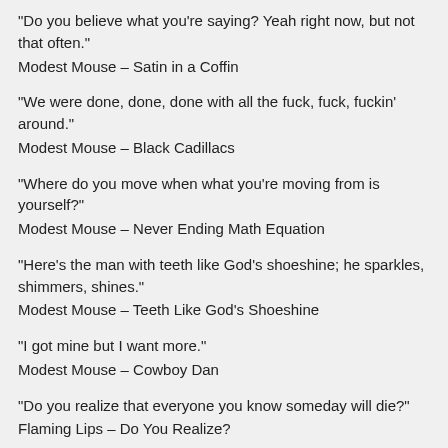“Do you believe what you’re saying? Yeah right now, but not that often.”
Modest Mouse – Satin in a Coffin
“We were done, done, done with all the fuck, fuck, fuckin’ around.”
Modest Mouse – Black Cadillacs
“Where do you move when what you’re moving from is yourself?”
Modest Mouse – Never Ending Math Equation
“Here’s the man with teeth like God’s shoeshine; he sparkles, shimmers, shines.”
Modest Mouse – Teeth Like God’s Shoeshine
“I got mine but I want more.”
Modest Mouse – Cowboy Dan
“Do you realize that everyone you know someday will die?”
Flaming Lips – Do You Realize?
“The laws of man are not the laws of heaven.”